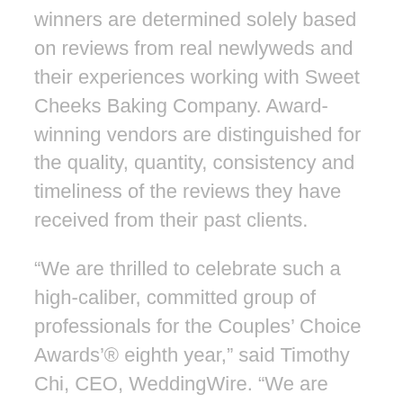winners are determined solely based on reviews from real newlyweds and their experiences working with Sweet Cheeks Baking Company. Award-winning vendors are distinguished for the quality, quantity, consistency and timeliness of the reviews they have received from their past clients.
“We are thrilled to celebrate such a high-caliber, committed group of professionals for the Couples’ Choice Awards’® eighth year,” said Timothy Chi, CEO, WeddingWire. “We are proud to continue to serve as the industry leader, with over 2.5 million consumer and peer reviews, and feature award-winning merchants such as Sweet Cheeks and congratulate their impressive...